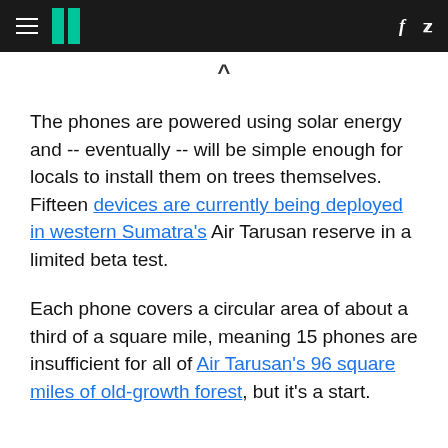HuffPost navigation header with hamburger menu, logo, Facebook and Twitter icons
The phones are powered using solar energy and -- eventually -- will be simple enough for locals to install them on trees themselves. Fifteen devices are currently being deployed in western Sumatra's Air Tarusan reserve in a limited beta test.
Each phone covers a circular area of about a third of a square mile, meaning 15 phones are insufficient for all of Air Tarusan's 96 square miles of old-growth forest, but it's a start.